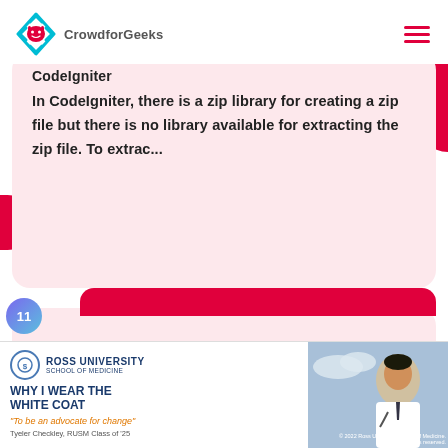CrowdforGeeks
CodeIgniter
In CodeIgniter, there is a zip library for creating a zip file but there is no library available for extracting the zip file. To extrac...
[Figure (screenshot): Item 11 card with pink banner strip and circle badge]
[Figure (screenshot): Ross University School of Medicine advertisement with doctor in white coat. Headline: WHY I WEAR THE WHITE COAT. Quote: 'To be an advocate for change'. Tyeler Checkley, RUSM Class of '25.]